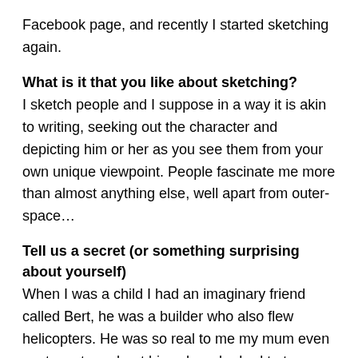Facebook page, and recently I started sketching again.
What is it that you like about sketching?
I sketch people and I suppose in a way it is akin to writing, seeking out the character and depicting him or her as you see them from your own unique viewpoint. People fascinate me more than almost anything else, well apart from outer-space…
Tell us a secret (or something surprising about yourself)
When I was a child I had an imaginary friend called Bert, he was a builder who also flew helicopters. He was so real to me my mum even wrote a story about him where he had to tap on the window one night to prove his existence! My family used to think it very funny when I disappeared off down the garden to 'help Bert' wearing my 'Pork Pie